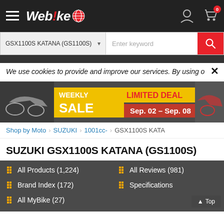Webike - GSX1100S KATANA (GS1100S) search page header with navigation
GSX1100S KATANA (GS1100S)  Enter keyword
We use cookies to provide and improve our services. By using o
[Figure (screenshot): Weekly Sale Limited Deal banner Sep. 02 - Sep. 08 with motorcycle images]
Shop by Moto > SUZUKI > 1001cc- > GSX1100S KATA
SUZUKI GSX1100S KATANA (GS1100S)
All Products (1,224)
All Reviews (981)
Brand Index (172)
Specifications
All MyBike (27)